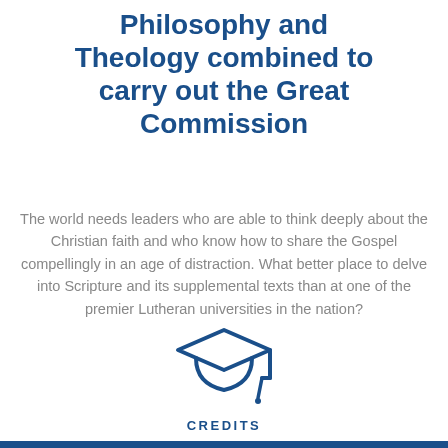Philosophy and Theology combined to carry out the Great Commission
The world needs leaders who are able to think deeply about the Christian faith and who know how to share the Gospel compellingly in an age of distraction. What better place to delve into Scripture and its supplemental texts than at one of the premier Lutheran universities in the nation?
[Figure (illustration): Graduation cap icon in dark blue outline style]
CREDITS
126